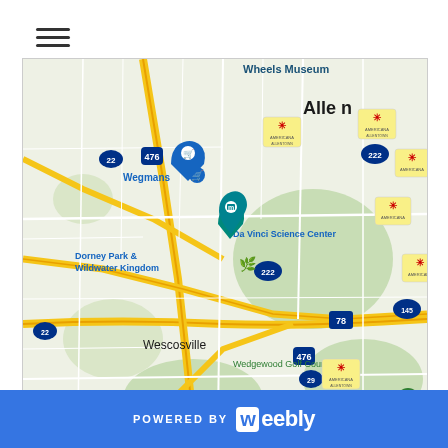[Figure (map): Google Maps screenshot showing the Allentown, PA area including Wescosville, East Texas, Oaks, Emmaus Community, Wedgewood Golf Course, Da Vinci Science Center, Dorney Park & Wildwater Kingdom, Wegmans, Wheels Museum, and multiple yellow location marker pins with red asterisk icons. Road markers include routes 22, 78, 222, 476, 145, and 29.]
POWERED BY weebly